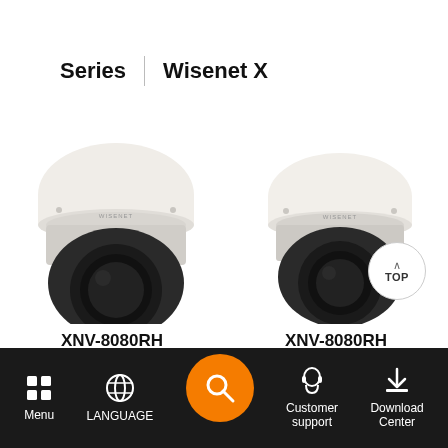Series | Wisenet X
[Figure (photo): Two Wisenet X dome security cameras side by side on white background]
XNV-8080RH
XNV-8080RH
Menu | LANGUAGE | Search | Customer support | Download Center